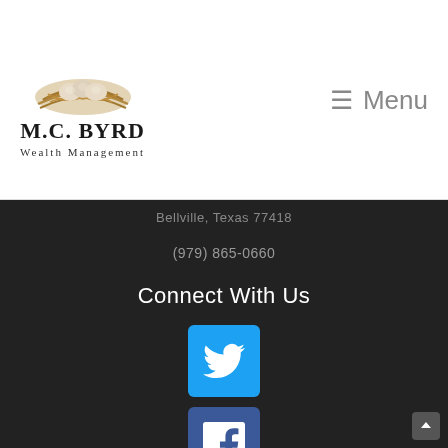[Figure (logo): M.C. Byrd Wealth Management logo with nest and eggs illustration above the company name]
≡ Menu
Bellville, Texas 77418
(979) 865-0660
Connect With Us
[Figure (logo): Twitter social media icon - white bird on cyan/blue square background]
[Figure (logo): Facebook social media icon - white f on dark blue square background]
[Figure (logo): LinkedIn social media icon - white 'in' on blue square background (partially visible)]